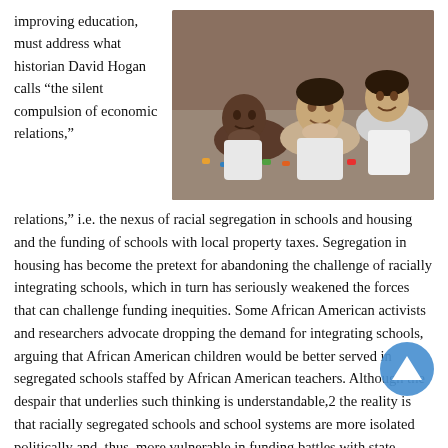improving education, must address what historian David Hogan calls “the silent compulsion of economic relations,”
[Figure (photo): Two young children lying on the floor smiling, with small toy animals in front of them, in a classroom setting]
relations,” i.e. the nexus of racial segregation in schools and housing and the funding of schools with local property taxes. Segregation in housing has become the pretext for abandoning the challenge of racially integrating schools, which in turn has seriously weakened the forces that can challenge funding inequities. Some African American activists and researchers advocate dropping the demand for integrating schools, arguing that African American children would be better served in segregated schools staffed by African American teachers. Although the despair that underlies such thinking is understandable,2 the reality is that racially segregated schools and school systems are more isolated politically and, thus, more vulnerable in funding battles with state legislatures. The urgency for making schools better is undeniable, but so is the necessity for mounting a political and legal challenge to de facto school segregation and the use of local property taxes to fund schools.